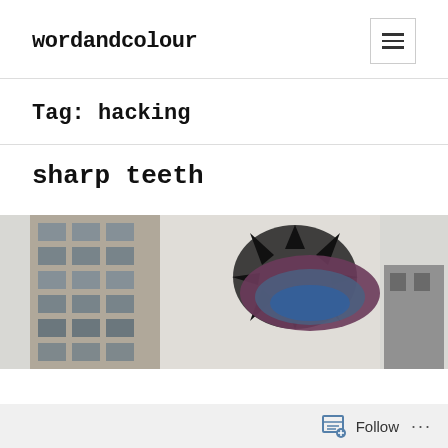wordandcolour
Tag: hacking
sharp teeth
[Figure (photo): Street art mural showing a large whale or shark bursting through a wall of a building, with spiky black outlines around the hole. A multi-story building with rows of windows is visible on the left, and another building structure on the right.]
Follow ...